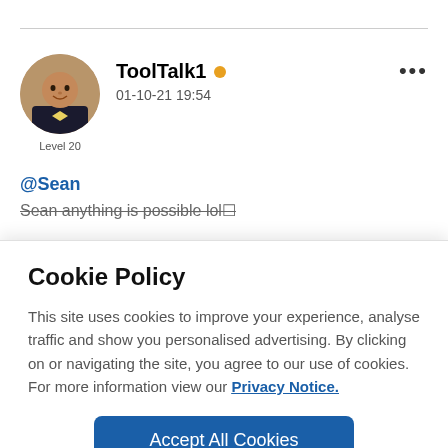[Figure (photo): Circular avatar photo of a man in formal attire]
Level 20
ToolTalk1 • 01-10-21 19:54
@Sean
Sean anything is possible lol
Cookie Policy
This site uses cookies to improve your experience, analyse traffic and show you personalised advertising. By clicking on or navigating the site, you agree to our use of cookies. For more information view our Privacy Notice.
Accept All Cookies